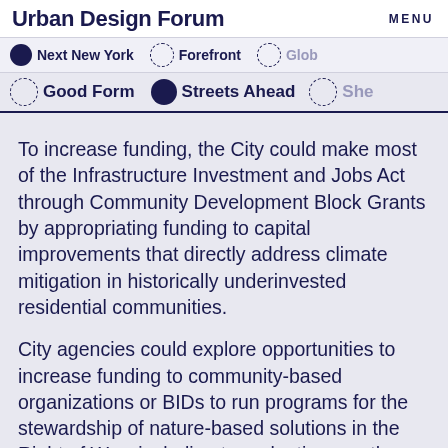Urban Design Forum   MENU
Next New York   Forefront   Glob
Good Form   Streets Ahead   She
To increase funding, the City could make most of the Infrastructure Investment and Jobs Act through Community Development Block Grants by appropriating funding to capital improvements that directly address climate mitigation in historically underinvested residential communities.
City agencies could explore opportunities to increase funding to community-based organizations or BIDs to run programs for the stewardship of nature-based solutions in the Right of Way, including tree planting, youth